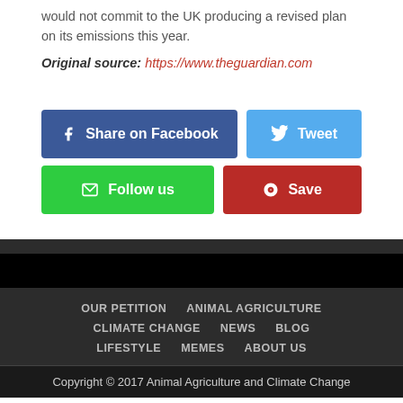would not commit to the UK producing a revised plan on its emissions this year.
Original source: https://www.theguardian.com
[Figure (other): Social sharing buttons: Share on Facebook (dark blue), Tweet (light blue), Follow us (green), Save (dark red)]
OUR PETITION   ANIMAL AGRICULTURE   CLIMATE CHANGE   NEWS   BLOG   LIFESTYLE   MEMES   ABOUT US   Copyright © 2017 Animal Agriculture and Climate Change